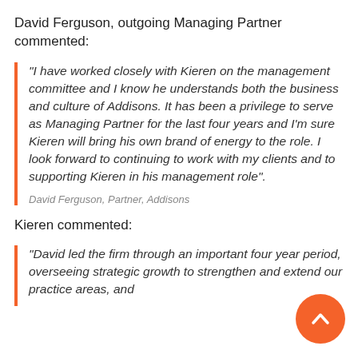David Ferguson, outgoing Managing Partner commented:
“I have worked closely with Kieren on the management committee and I know he understands both the business and culture of Addisons. It has been a privilege to serve as Managing Partner for the last four years and I’m sure Kieren will bring his own brand of energy to the role. I look forward to continuing to work with my clients and to supporting Kieren in his management role”.
David Ferguson, Partner, Addisons
Kieren commented:
“David led the firm through an important four year period, overseeing strategic growth to strengthen and extend our practice areas, and